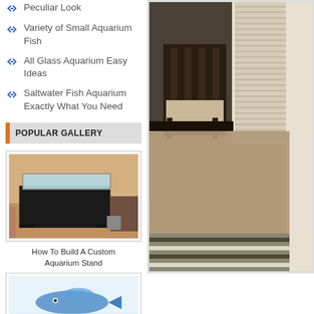Peculiar Look
Variety of Small Aquarium Fish
All Glass Aquarium Easy Ideas
Saltwater Fish Aquarium Exactly What You Need
POPULAR GALLERY
[Figure (photo): Aquarium stand in a room - black cabinet with aquarium on top]
How To Build A Custom Aquarium Stand
[Figure (photo): Fish or aquarium related image - partially visible, blue tones]
[Figure (photo): Interior room photo showing a chair, window with blinds, carpeted floor, and striped cushion/ottoman]